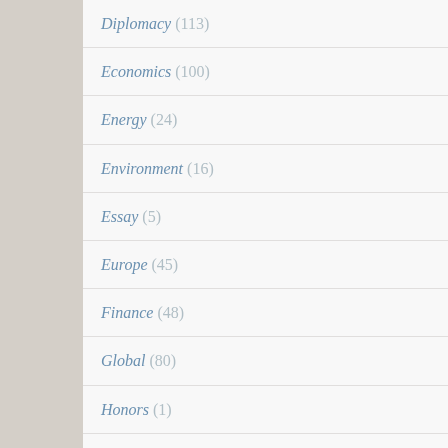Diplomacy (113)
Economics (100)
Energy (24)
Environment (16)
Essay (5)
Europe (45)
Finance (48)
Global (80)
Honors (1)
India (30)
Intelligence (22)
Iran (47)